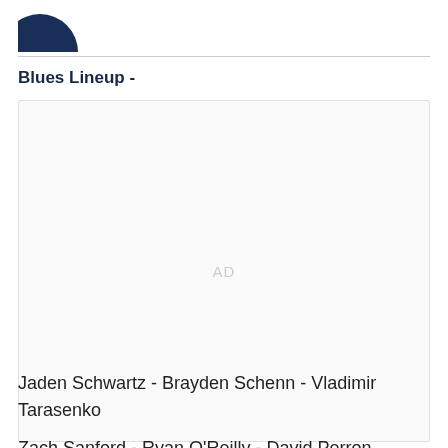[Figure (logo): Partial circular dark blue logo at top left]
Blues Lineup -
[Figure (other): Advertisement placeholder box with 'AD' text]
Jaden Schwartz - Brayden Schenn - Vladimir Tarasenko
Zach Sanford - Ryan O'Reilly - David Perron